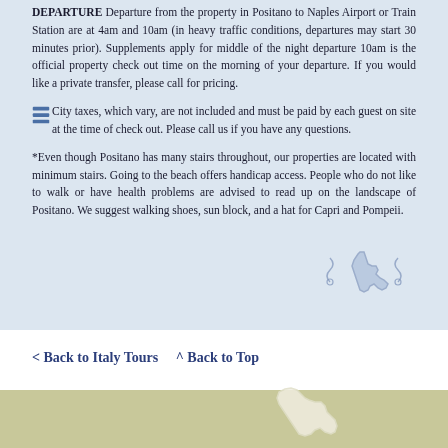DEPARTURE Departure from the property in Positano to Naples Airport or Train Station are at 4am and 10am (in heavy traffic conditions, departures may start 30 minutes prior). Supplements apply for middle of the night departure 10am is the official property check out time on the morning of your departure. If you would like a private transfer, please call for pricing.
City taxes, which vary, are not included and must be paid by each guest on site at the time of check out. Please call us if you have any questions.
*Even though Positano has many stairs throughout, our properties are located with minimum stairs. Going to the beach offers handicap access. People who do not like to walk or have health problems are advised to read up on the landscape of Positano. We suggest walking shoes, sun block, and a hat for Capri and Pompeii.
< Back to Italy Tours   ^ Back to Top
[Figure (illustration): Decorative Italy boot-shaped map outline with scrollwork, in muted blue-gray, bottom right of the blue panel]
[Figure (illustration): Decorative Italy outline map on olive/tan strip at bottom of page]